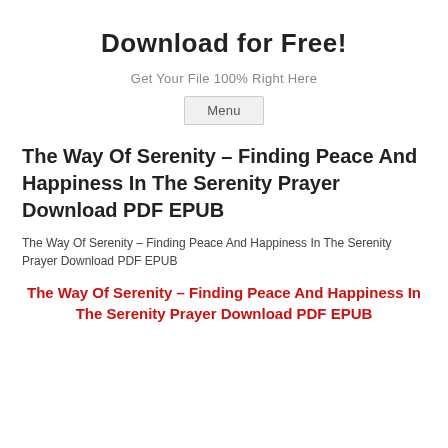Download for Free!
Get Your File 100% Right Here
Menu
The Way Of Serenity – Finding Peace And Happiness In The Serenity Prayer Download PDF EPUB
The Way Of Serenity – Finding Peace And Happiness In The Serenity Prayer Download PDF EPUB
The Way Of Serenity – Finding Peace And Happiness In The Serenity Prayer Download PDF EPUB